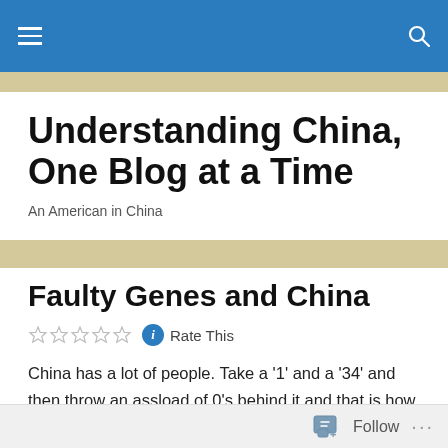Understanding China, One Blog at a Time — An American in China
Understanding China, One Blog at a Time
An American in China
Faulty Genes and China
Rate This
China has a lot of people. Take a '1' and a '34' and then throw an assload of 0's behind it and that is how many people suffer through their days in this dump.